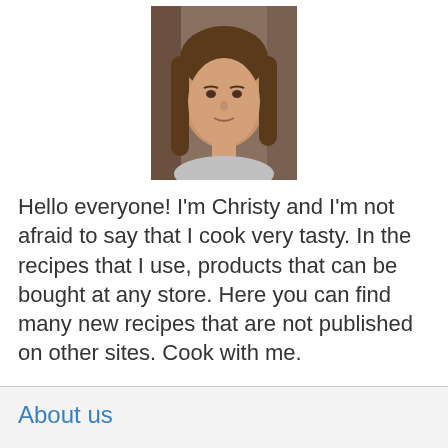[Figure (photo): Portrait photo of a woman with long brown hair, smiling slightly, indoor background]
Hello everyone! I'm Christy and I'm not afraid to say that I cook very tasty. In the recipes that I use, products that can be bought at any store. Here you can find many new recipes that are not published on other sites. Cook with me.
About us
Contact
Privacy Policy & Cookies